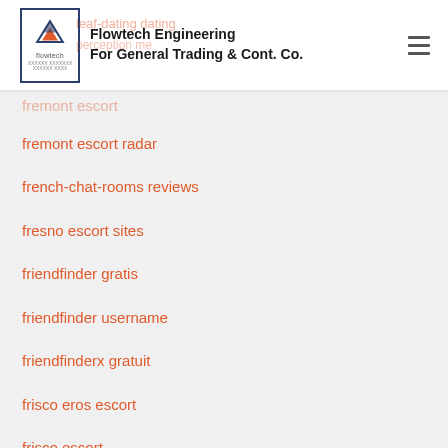Flowtech Engineering For General Trading & Cont. Co.
fremont escort
fremont escort radar
french-chat-rooms reviews
fresno escort sites
friendfinder gratis
friendfinder username
friendfinderx gratuit
frisco eros escort
frisco escort
frisco escort near me
Fruzo review